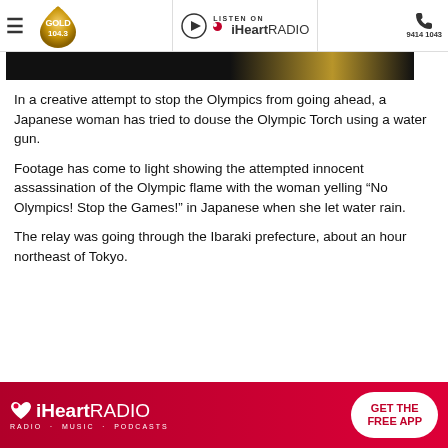GOLD 104.3 | LISTEN ON iHeartRADIO | 9414 1043
[Figure (photo): Dark image strip at the top of the article, showing the bottom portion of a photo with a gold gradient bar.]
In a creative attempt to stop the Olympics from going ahead, a Japanese woman has tried to douse the Olympic Torch using a water gun.
Footage has come to light showing the attempted innocent assassination of the Olympic flame with the woman yelling “No Olympics! Stop the Games!” in Japanese when she let water rain.
The relay was going through the Ibaraki prefecture, about an hour northeast of Tokyo.
[Figure (screenshot): iHeartRADIO advertisement banner. Red background with iHeartRADIO logo on the left, tagline RADIO · MUSIC · PODCASTS below, and a white button on the right reading GET THE FREE APP.]